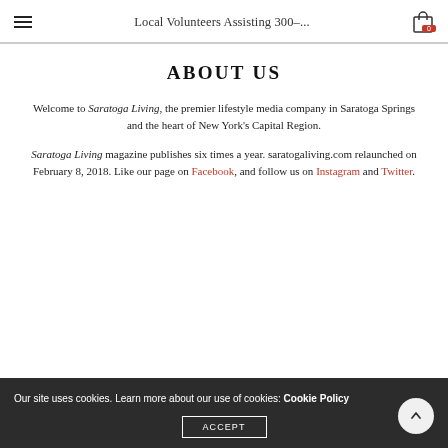Local Volunteers Assisting 300-...
ABOUT US
Welcome to Saratoga Living, the premier lifestyle media company in Saratoga Springs and the heart of New York's Capital Region.
Saratoga Living magazine publishes six times a year. saratogaliving.com relaunched on February 8, 2018. Like our page on Facebook, and follow us on Instagram and Twitter.
Our site uses cookies. Learn more about our use of cookies: Cookie Policy ACCEPT